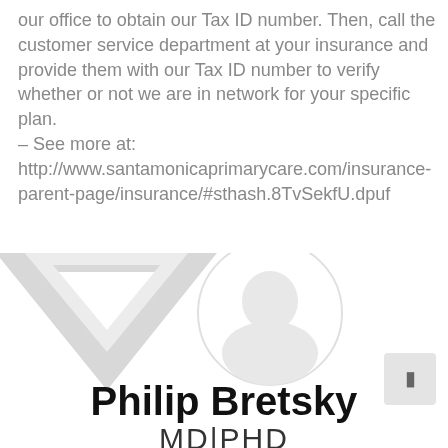our office to obtain our Tax ID number. Then, call the customer service department at your insurance and provide them with our Tax ID number to verify whether or not we are in network for your specific plan.
– See more at: http://www.santamonicaprimarycare.com/insurance-parent-page/insurance/#sthash.8TvSekfU.dpuf
[Figure (logo): Santa Monica Primary Care logo watermark with downward-pointing triangle/V shape, and a circular portrait silhouette. Name 'Philip Bretsky MD|PHD' displayed prominently at the bottom.]